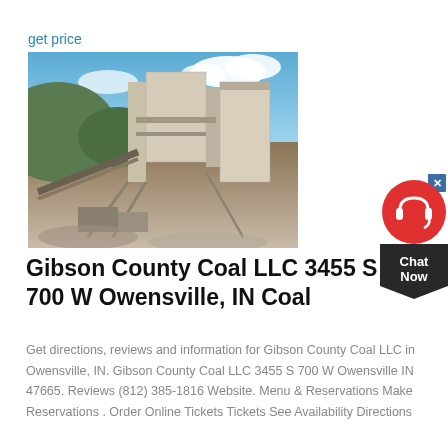get price
[Figure (photo): Industrial mining/crushing equipment at an outdoor quarry or mine site, with blue sky and clouds in the background and rocky terrain in the foreground.]
Gibson County Coal LLC 3455 S 700 W Owensville, IN Coal
Get directions, reviews and information for Gibson County Coal LLC in Owensville, IN. Gibson County Coal LLC 3455 S 700 W Owensville IN 47665. Reviews (812) 385-1816 Website. Menu & Reservations Make Reservations . Order Online Tickets Tickets See Availability Directions
[Figure (illustration): Chat Now widget button in the top-right corner, with a red circle containing a headset icon and a dark pointed box labeled 'Chat Now'.]